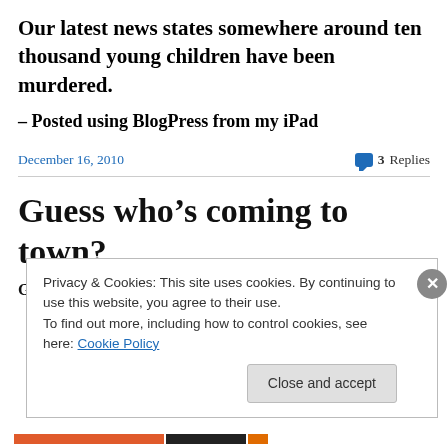Our latest news states somewhere around ten thousand young children have been murdered.
– Posted using BlogPress from my iPad
December 16, 2010    3 Replies
Guess who’s coming to town?
Guess who’s coming to town?
Privacy & Cookies: This site uses cookies. By continuing to use this website, you agree to their use.
To find out more, including how to control cookies, see here: Cookie Policy
Close and accept